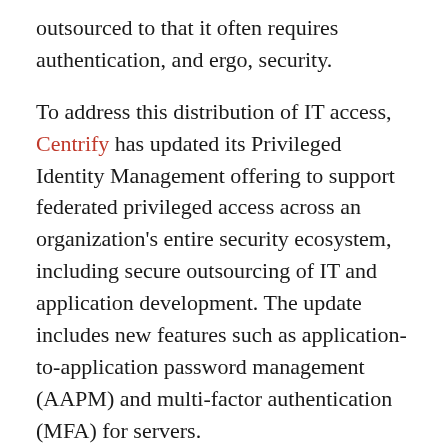outsourced to that it often requires authentication, and ergo, security.
To address this distribution of IT access, Centrify has updated its Privileged Identity Management offering to support federated privileged access across an organization's entire security ecosystem, including secure outsourcing of IT and application development. The update includes new features such as application-to-application password management (AAPM) and multi-factor authentication (MFA) for servers.
According to a Forrester Consulting study — commissioned last month by the company — 100 per cent of organizations surveyed are outsourcing at least one IT function and at least one application development function; research